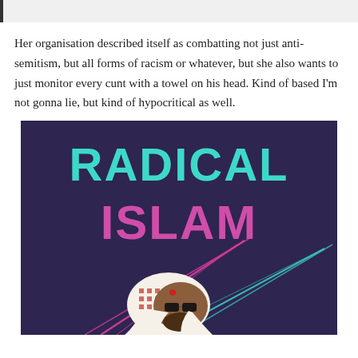Her organisation described itself as combatting not just anti-semitism, but all forms of racism or whatever, but she also wants to just monitor every cunt with a towel on his head. Kind of based I'm not gonna lie, but kind of hypocritical as well.
[Figure (illustration): Stylized illustration on a dark purple background with the text 'RADICAL ISLAM' in decorative lettering (teal/turquoise for RADICAL, pink/magenta for ISLAM), with colorful laser beam lines and a cartoon figure of a bearded man wearing a keffiyeh and sunglasses at the bottom.]